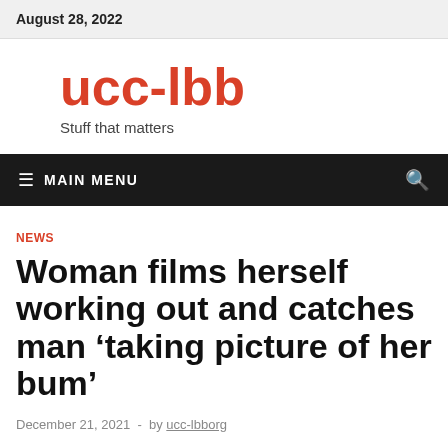August 28, 2022
ucc-lbb
Stuff that matters
≡ MAIN MENU
NEWS
Woman films herself working out and catches man ‘taking picture of her bum’
December 21, 2021  -  by ucc-lbborg